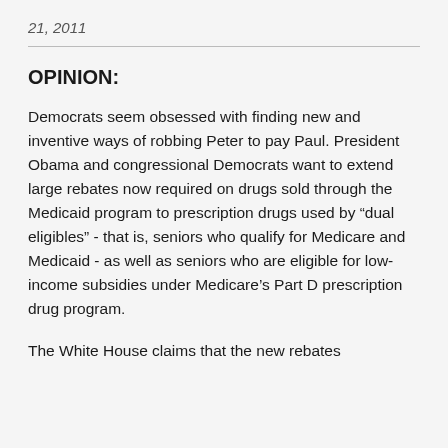21, 2011
OPINION:
Democrats seem obsessed with finding new and inventive ways of robbing Peter to pay Paul. President Obama and congressional Democrats want to extend large rebates now required on drugs sold through the Medicaid program to prescription drugs used by “dual eligibles” - that is, seniors who qualify for Medicare and Medicaid - as well as seniors who are eligible for low-income subsidies under Medicare’s Part D prescription drug program.
The White House claims that the new rebates